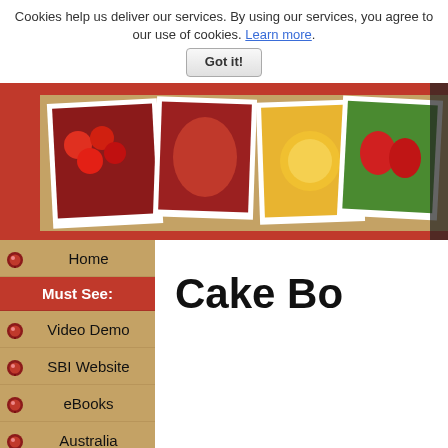Cookies help us deliver our services. By using our services, you agree to our use of cookies. Learn more.
Got it!
[Figure (photo): Header banner image showing food photos on a corkboard: tomatoes, red pepper, lemon/orange, strawberries, and a handwritten note saying '1/2 cup laughter tsp. laughter Mix & Enjoy!']
Cake Bo
Home
Must See:
Video Demo
SBI Website
eBooks
Australia
Recipes: